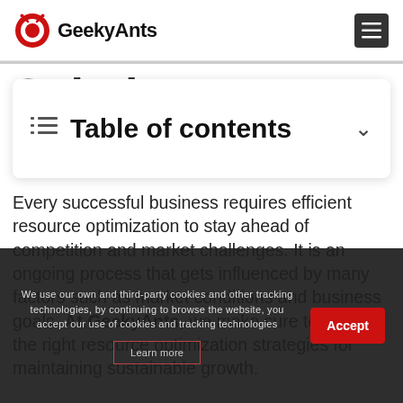GeekyAnts
Table of contents
Every successful business requires efficient resource optimization to stay ahead of competition and market challenges. It is an ongoing process that gets influenced by many factors such as market conditions and business goals. At GeekyAnts, we make sure to employ the right resource optimization strategies for maintaining sustainable growth.
We use our own and third-party cookies and other tracking technologies, by continuing to browse the website, you accept our use of cookies and tracking technologies